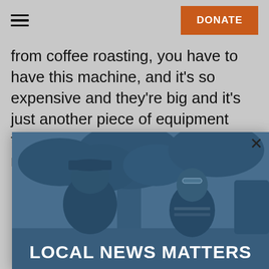≡  DONATE
from coffee roasting, you have to have this machine, and it's so expensive and they're big and it's just another piece of equipment that you have to have in your roastery with you,
[Figure (photo): A modal popup over the article content showing two people talking outdoors near a tree, with a blue-tinted overlay and the text 'LOCAL NEWS MATTERS' at the bottom. A close (×) button is at the top right of the modal.]